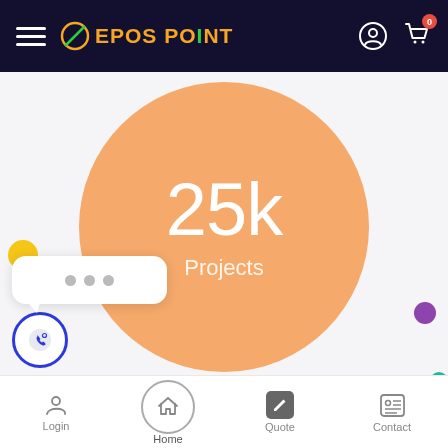EPOS POINT — navigation header with hamburger menu, logo, user icon, cart icon (0)
[Figure (infographic): Large orange circle with '25k Projects' text in center, on light gray background, with decorative colored dots (yellow, purple, cyan, small peach)]
[Figure (screenshot): Chat bubble widget with three gray dots (typing indicator) above a circular phone/viber button with blue border]
Bottom navigation bar: Login, Home, Quote, Contact